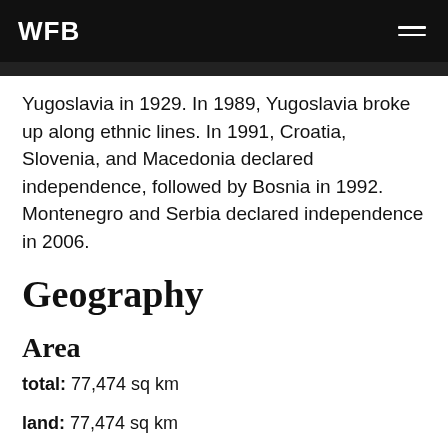WFB
Yugoslavia in 1929. In 1989, Yugoslavia broke up along ethnic lines. In 1991, Croatia, Slovenia, and Macedonia declared independence, followed by Bosnia in 1992. Montenegro and Serbia declared independence in 2006.
Geography
Area
total: 77,474 sq km
land: 77,474 sq km